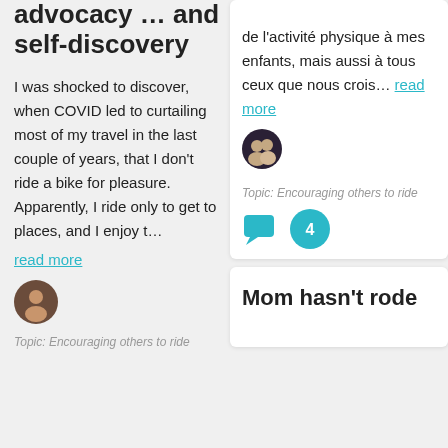advocacy … and self-discovery
I was shocked to discover, when COVID led to curtailing most of my travel in the last couple of years, that I don't ride a bike for pleasure. Apparently, I ride only to get to places, and I enjoy t…
read more
[Figure (photo): Small circular avatar photo of a person]
Topic: Encouraging others to ride
de l'activité physique à mes enfants, mais aussi à tous ceux que nous crois… read more
[Figure (photo): Small circular avatar photo of two people]
Topic: Encouraging others to ride
[Figure (infographic): Chat bubble icon (teal) and hand/high-five icon with number 4 (teal circle)]
Mom hasn't rode